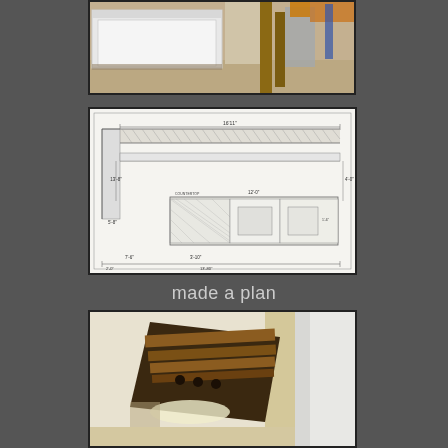[Figure (photo): Construction photo showing white bathtub or cabinet box in a room with wooden framing and orange construction material visible in background]
[Figure (engineering-diagram): Architectural/engineering elevation drawing of a room or built-in cabinet with dimensions labeled including 16'11", 1'-3", 13'-8", 4'-0", 5'-8", 12'-0", 7'-6", 3'-10", 36'-0", 13'-80"]
made a plan
[Figure (photo): Photo looking up at an opening cut in a ceiling, revealing wooden joists/beams with drilled holes and insulation below, with white molding visible at right]